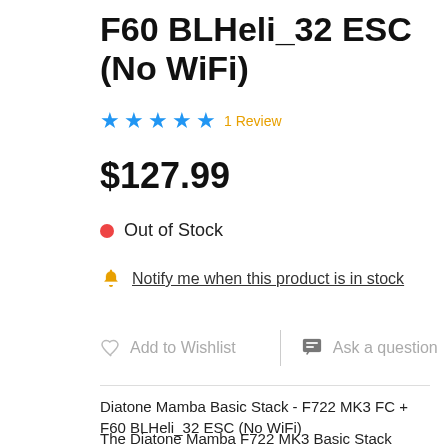F60 BLHeli_32 ESC (No WiFi)
★★★★★ 1 Review
$127.99
● Out of Stock
🔔 Notify me when this product is in stock
Add to Wishlist   |   Ask a question
Diatone Mamba Basic Stack - F722 MK3 FC + F60 BLHeli_32 ESC (No WiFi)
The Diatone Mamba F722 MK3 Basic Stack brings BIG power all in a 30.5x30.5 mounting size! This